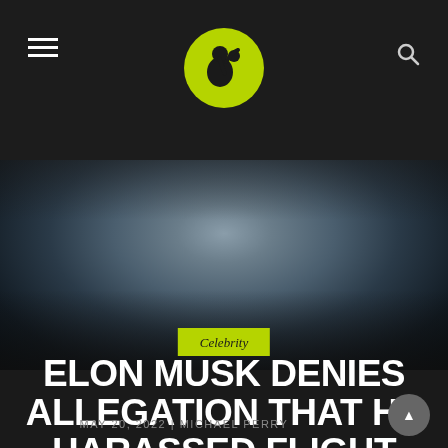Celebrity news website header with logo and navigation
[Figure (photo): Close-up photo of Elon Musk with dark dramatic lighting, man in dark suit looking downward]
Celebrity
ELON MUSK DENIES ALLEGATION THAT HE HARASSED FLIGHT ATTENDANT
MAY 20, 2022 | MICHAEL PERRY